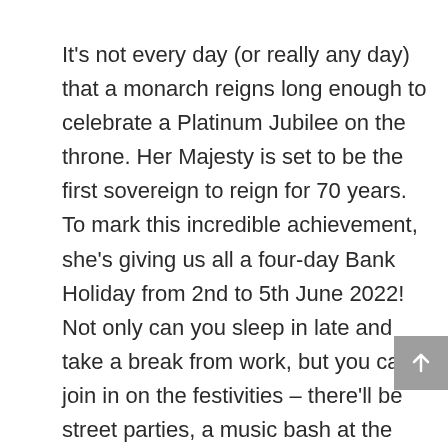It's not every day (or really any day) that a monarch reigns long enough to celebrate a Platinum Jubilee on the throne. Her Majesty is set to be the first sovereign to reign for 70 years. To mark this incredible achievement, she's giving us all a four-day Bank Holiday from 2nd to 5th June 2022! Not only can you sleep in late and take a break from work, but you can join in on the festivities – there'll be street parties, a music bash at the Palace, and even a pageant featuring over 5,000 people from the UK and the Commonwealth.
Holby City will be ending after 23 years on